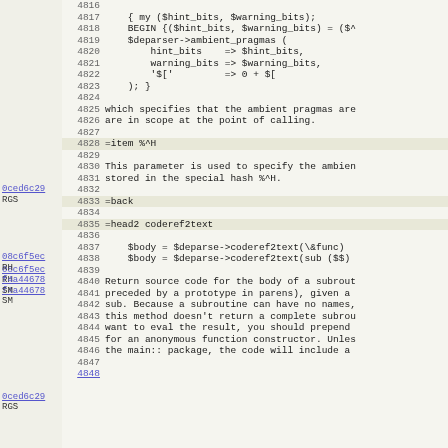Code listing lines 4816-4848 with annotations
0ced6c29 RGS - annotation at line 4828
08c6f5ec RH - annotation at line 4833
f4a44678 SM - annotation at line 4835